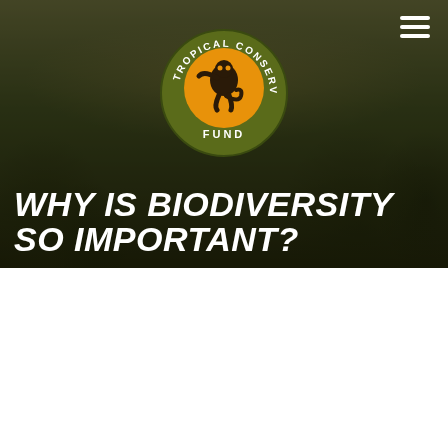[Figure (photo): Tropical forest canopy background with misty light, dark green and brown tones]
[Figure (logo): Tropical Conservation Fund circular logo — dark olive green outer ring with white text 'TROPICAL CONSERVATION' arching top and 'FUND' at bottom; orange inner circle with black silhouette of a monkey/primate leaping]
WHY IS BIODIVERSITY SO IMPORTANT?
[Figure (infographic): Partial pie/wheel infographic showing biodiversity services segments in yellow and green, with small icons above each segment (umbrella/beach, location pin, bowl of food, goggles/seeds, pill/medicine) and segment labels including 'Food', 'Raw materials', and others partially visible]
The variety of life on Earth, its biological